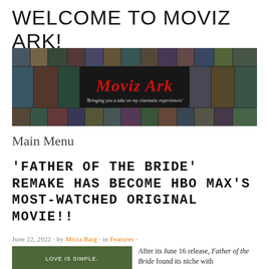WELCOME TO MOVIZ ARK!
[Figure (illustration): Moviz Ark blog banner: a collage of movie stills with 'Moviz Ark' in red stylized text and subtitle 'Bringing you a take on my cinematic experiences']
Main Menu
'FATHER OF THE BRIDE' REMAKE HAS BECOME HBO MAX'S MOST-WATCHED ORIGINAL MOVIE!!
June 22, 2022 · by Mirza Baig · in Features ·
[Figure (photo): Still from Father of the Bride with text 'LOVE IS SIMPLE.' overlaid]
After its June 16 release, Father of the Bride found its niche with